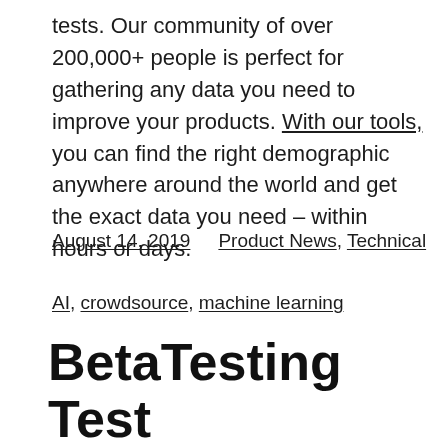tests. Our community of over 200,000+ people is perfect for gathering any data you need to improve your products. With our tools, you can find the right demographic anywhere around the world and get the exact data you need – within hours or days.
August 14, 2019    Product News, Technical
AI, crowdsource, machine learning
BetaTesting Test